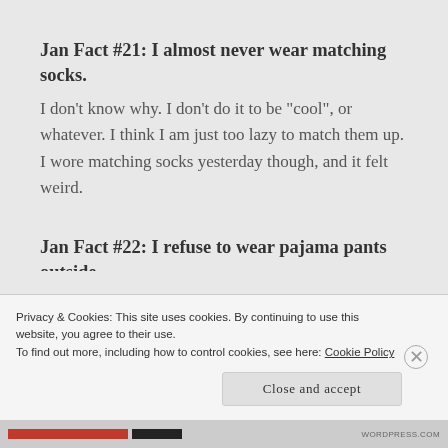Jan Fact #21: I almost never wear matching socks.
I don’t know why. I don’t do it to be “cool”, or whatever. I think I am just too lazy to match them up. I wore matching socks yesterday though, and it felt weird.
Jan Fact #22: I refuse to wear pajama pants outside.
Privacy & Cookies: This site uses cookies. By continuing to use this website, you agree to their use.
To find out more, including how to control cookies, see here: Cookie Policy
Close and accept